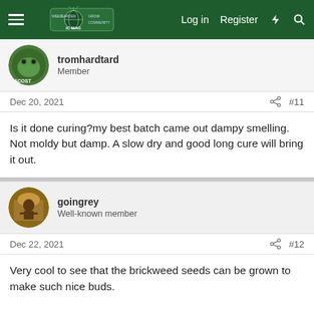Navigation bar with hamburger menu, site logo, Log in, Register, and search icons
tromhardtard
Member
Dec 20, 2021  #11
Is it done curing?my best batch came out dampy smelling. Not moldy but damp. A slow dry and good long cure will bring it out.
goingrey
Well-known member
Dec 22, 2021  #12
Very cool to see that the brickweed seeds can be grown to make such nice buds.

You wouldn't happen to have any photos of the original brickweed would you?